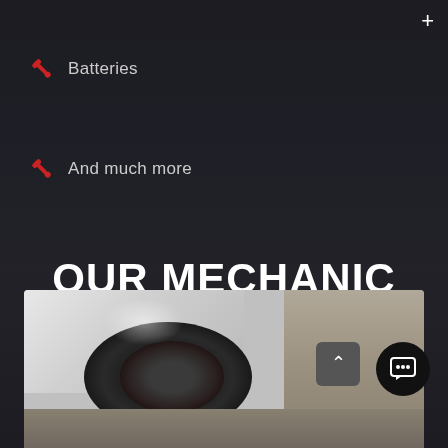Batteries
And much more
OUR MECHANIC SERVICES
[Figure (photo): Close-up photo of a car wheel well showing brake components and tire area, viewed from the front of a white vehicle in an automotive workshop.]